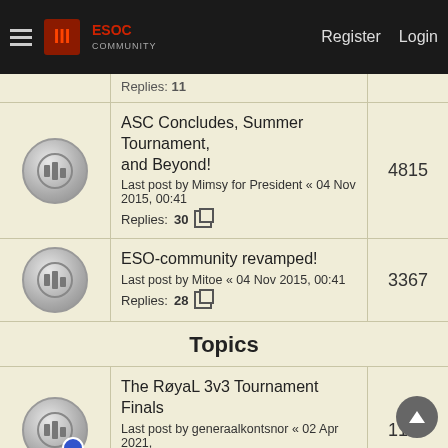ESOC Community — Register | Login
ASC Concludes, Summer Tournament, and Beyond! Last post by Mimsy for President « 04 Nov 2015, 00:41 Replies: 30 — 4815
ESO-community revamped! Last post by Mitoe « 04 Nov 2015, 00:41 Replies: 28 — 3367
Topics
The RøyaL 3v3 Tournament Finals Last post by generaalkontsnor « 02 Apr 2021, 15:39 Replies: 9 — 1126
$750 King of the Hill Tournament GRAND FINALS! Last post by Wo1olo « 20 Mar 2021, 05:53 Replies: 3 — 288
KOTOW SEMI-FINALS - 15GMT Last post by n0el « 27 Aug 2022, 11:52 — 142